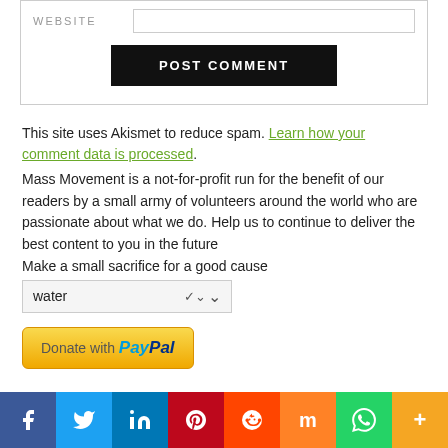[Figure (screenshot): Website input field with label and POST COMMENT button inside a bordered form area]
This site uses Akismet to reduce spam. Learn how your comment data is processed.
Mass Movement is a not-for-profit run for the benefit of our readers by a small army of volunteers around the world who are passionate about what we do. Help us to continue to deliver the best content to you in the future
Make a small sacrifice for a good cause
[Figure (screenshot): Dropdown selector showing 'water' with a chevron arrow]
[Figure (screenshot): Donate with PayPal button]
[Figure (screenshot): Social media share bar with Facebook, Twitter, LinkedIn, Pinterest, Reddit, Mix, WhatsApp, More icons]